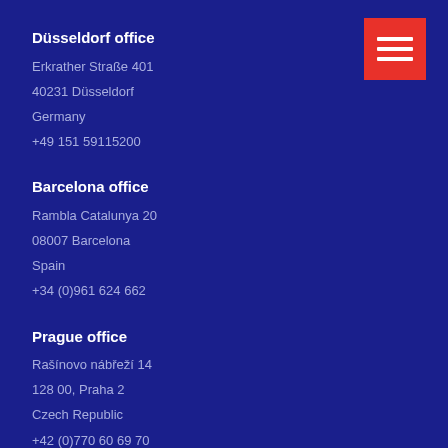[Figure (other): Red menu/hamburger button with three white horizontal lines]
Düsseldorf office
Erkrather Straße 401
40231 Düsseldorf
Germany
+49 151 59115200
Barcelona office
Rambla Catalunya 20
08007 Barcelona
Spain
+34 (0)961 624 662
Prague office
Rašínovo nábřeží 14
128 00, Praha 2
Czech Republic
+42 (0)770 60 69 70